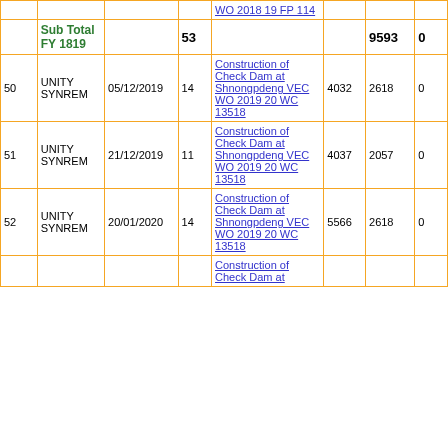| # | Firm | Date | Qty | Work Order | WO Amt | Bill Amt | Paid |
| --- | --- | --- | --- | --- | --- | --- | --- |
|  | Sub Total FY 1819 |  | 53 |  |  | 9593 | 0 |
| 50 | UNITY SYNREM | 05/12/2019 | 14 | Construction of Check Dam at Shnongpdeng VEC WO 2019 20 WC 13518 | 4032 | 2618 | 0 |
| 51 | UNITY SYNREM | 21/12/2019 | 11 | Construction of Check Dam at Shnongpdeng VEC WO 2019 20 WC 13518 | 4037 | 2057 | 0 |
| 52 | UNITY SYNREM | 20/01/2020 | 14 | Construction of Check Dam at Shnongpdeng VEC WO 2019 20 WC 13518 | 5566 | 2618 | 0 |
|  |  |  |  | Construction of Check Dam at... |  |  |  |